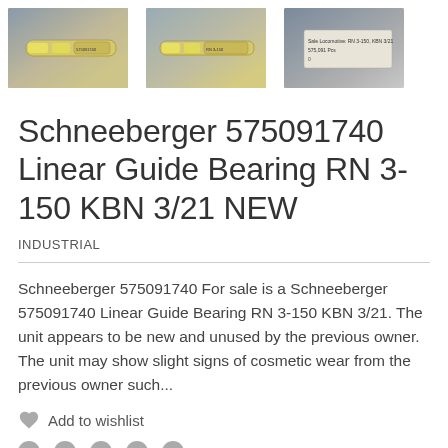[Figure (photo): Three photos of a Schneeberger 575091740 Linear Guide Bearing RN 3-150 KBN 3/21 shown from different angles. The bearing appears as a long cylindrical/rod-shaped component with yellow labels.]
Schneeberger 575091740 Linear Guide Bearing RN 3-150 KBN 3/21 NEW
INDUSTRIAL
Schneeberger 575091740 For sale is a Schneeberger 575091740 Linear Guide Bearing RN 3-150 KBN 3/21. The unit appears to be new and unused by the previous owner. The unit may show slight signs of cosmetic wear from the previous owner such...
Add to wishlist